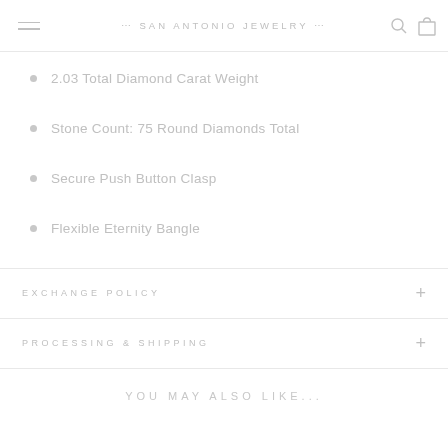⋯ SAN ANTONIO JEWELRY ⋯
2.03 Total Diamond Carat Weight
Stone Count: 75 Round Diamonds Total
Secure Push Button Clasp
Flexible Eternity Bangle
EXCHANGE POLICY
PROCESSING & SHIPPING
YOU MAY ALSO LIKE...